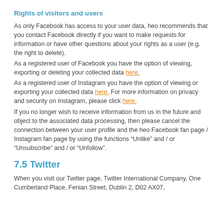Rights of visitors and users
As only Facebook has access to your user data, heo recommends that you contact Facebook directly if you want to make requests for information or have other questions about your rights as a user (e.g. the right to delete).
As a registered user of Facebook you have the option of viewing, exporting or deleting your collected data here.
As a registered user of Instagram you have the option of viewing or exporting your collected data here. For more information on privacy and security on Instagram, please click here.
If you no longer wish to receive information from us in the future and object to the associated data processing, then please cancel the connection between your user profile and the heo Facebook fan page / Instagram fan page by using the functions “Unlike” and / or “Unsubscribe” and / or “Unfollow”.
7.5 Twitter
When you visit our Twitter page, Twitter International Company, One Cumberland Place, Fenian Street, Dublin 2, D02 AX07,